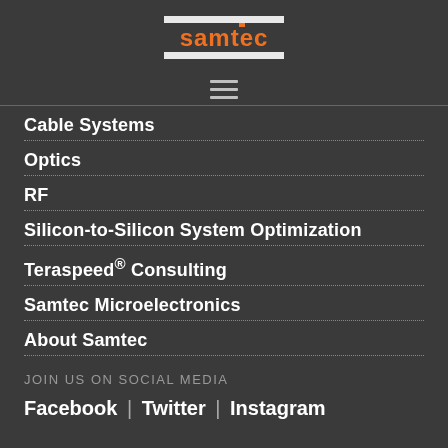[Figure (logo): Samtec logo — orange text on dark background with horizontal bars]
[Figure (other): Hamburger menu icon (three horizontal lines)]
Cable Systems
Optics
RF
Silicon-to-Silicon System Optimization
Teraspeed® Consulting
Samtec Microelectronics
About Samtec
JOIN US ON SOCIAL MEDIA
Facebook | Twitter | Instagram